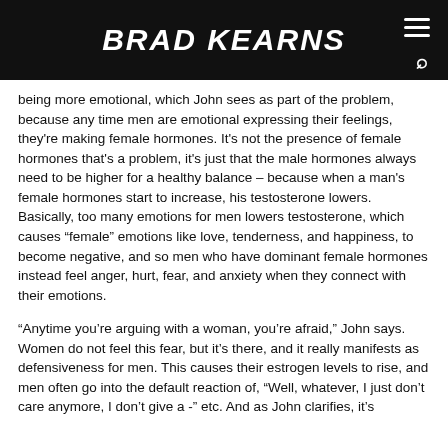BRAD KEARNS
being more emotional, which John sees as part of the problem, because any time men are emotional expressing their feelings, they're making female hormones. It's not the presence of female hormones that's a problem, it's just that the male hormones always need to be higher for a healthy balance – because when a man's female hormones start to increase, his testosterone lowers. Basically, too many emotions for men lowers testosterone, which causes “female” emotions like love, tenderness, and happiness, to become negative, and so men who have dominant female hormones instead feel anger, hurt, fear, and anxiety when they connect with their emotions.
“Anytime you’re arguing with a woman, you’re afraid,” John says. Women do not feel this fear, but it’s there, and it really manifests as defensiveness for men. This causes their estrogen levels to rise, and men often go into the default reaction of, “Well, whatever, I just don’t care anymore, I don’t give a -” etc. And as John clarifies, it’s